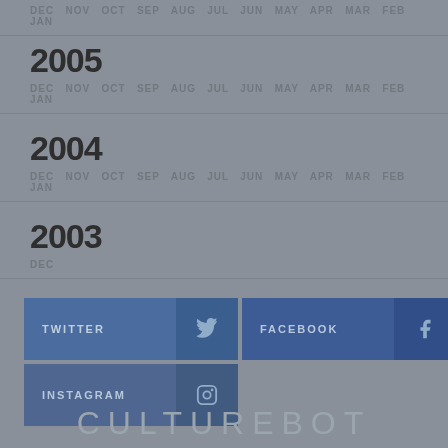DEC NOV OCT SEP AUG JUL JUN MAY APR MAR FEB JAN
2005
DEC NOV OCT SEP AUG JUL JUN MAY APR MAR FEB JAN
2004
DEC NOV OCT SEP AUG JUL JUN MAY APR MAR FEB JAN
2003
DEC
TWITTER
FACEBOOK
INSTAGRAM
CULTUREBOT